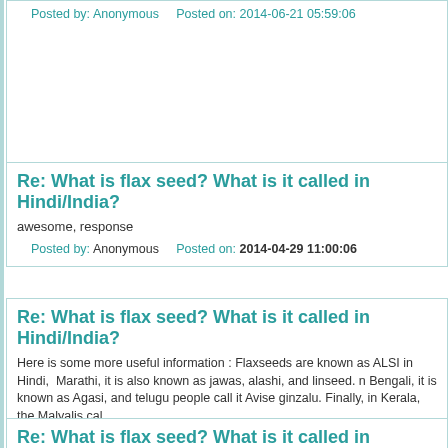Posted by: Anonymous   Posted on: 2014-06-21 05:59:06
Re: What is flax seed? What is it called in Hindi/India?
awesome, response
Posted by: Anonymous   Posted on: 2014-04-29 11:00:06
Re: What is flax seed? What is it called in Hindi/India?
Here is some more useful information : Flaxseeds are known as ALSI in Hindi, Marathi, it is also known as jawas, alashi, and linseed. n Bengali, it is known as Agasi, and telugu people call it Avise ginzalu. Finally, in Kerala, the Malyalis cal
Posted by: Anonymous   Posted on: 2014-01-17 07:12:19
Re: What is flax seed? What is it called in Hindi/India?